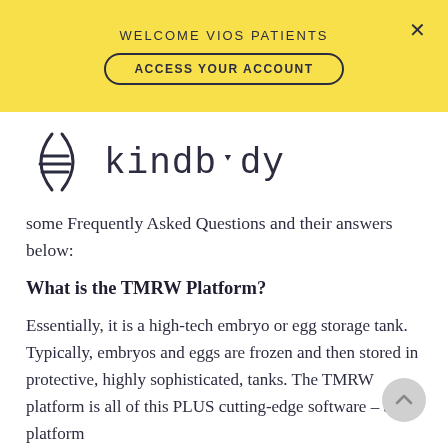WELCOME VIOS PATIENTS
ACCESS YOUR ACCOUNT
[Figure (logo): Kindbody logo with hamburger menu icon inside parentheses and the word kindbody in monospace font]
some Frequently Asked Questions and their answers below:
What is the TMRW Platform?
Essentially, it is a high-tech embryo or egg storage tank. Typically, embryos and eggs are frozen and then stored in protective, highly sophisticated, tanks. The TMRW platform is all of this PLUS cutting-edge software – a platform